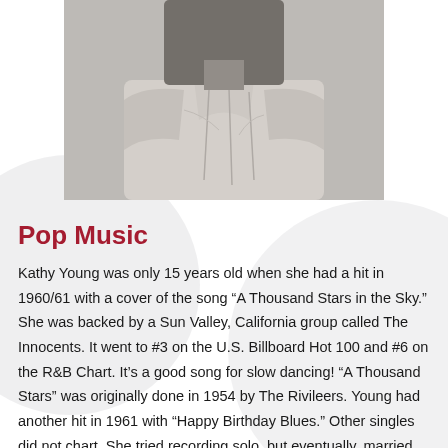[Figure (photo): Black and white photograph of a person, partially visible from the chest up, wearing a light-colored shirt or jacket.]
Pop Music
Kathy Young was only 15 years old when she had a hit in 1960/61 with a cover of the song “A Thousand Stars in the Sky.” She was backed by a Sun Valley, California group called The Innocents. It went to #3 on the U.S. Billboard Hot 100 and #6 on the R&B Chart. It’s a good song for slow dancing! “A Thousand Stars” was originally done in 1954 by The Rivileers. Young had another hit in 1961 with “Happy Birthday Blues.” Other singles did not chart. She tried recording solo, but eventually, married, raised a family, managed a family citrus ranch, and returned to music. She has performed a numerous rock shows over the last few years and was inducted into